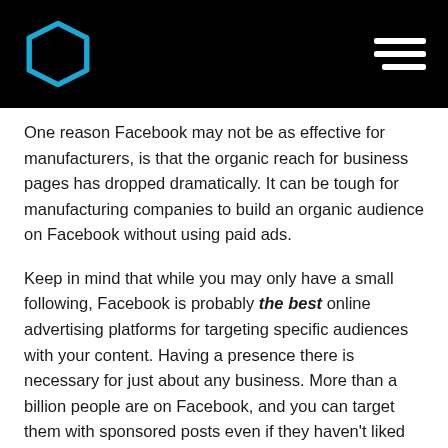[Figure (logo): Blue hexagon outline logo on black header bar with hamburger menu icon on the right]
One reason Facebook may not be as effective for manufacturers, is that the organic reach for business pages has dropped dramatically. It can be tough for manufacturing companies to build an organic audience on Facebook without using paid ads.
Keep in mind that while you may only have a small following, Facebook is probably the best online advertising platforms for targeting specific audiences with your content. Having a presence there is necessary for just about any business. More than a billion people are on Facebook, and you can target them with sponsored posts even if they haven't liked your page. When you're willing to use Facebook for paid distribution, it can become a much